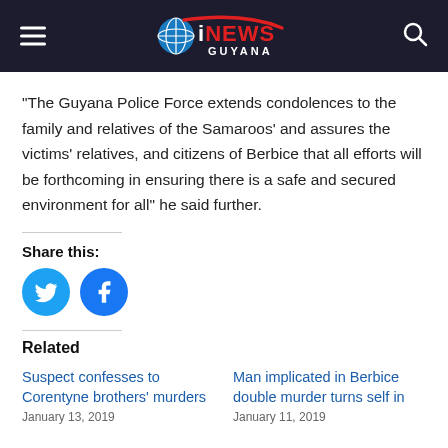iNEWS GUYANA
“The Guyana Police Force extends condolences to the family and relatives of the Samaroos’ and assures the victims’ relatives, and citizens of Berbice that all efforts will be forthcoming in ensuring there is a safe and secured environment for all” he said further.
Share this:
Related
Suspect confesses to Corentyne brothers’ murders
January 13, 2019
Man implicated in Berbice double murder turns self in
January 11, 2019